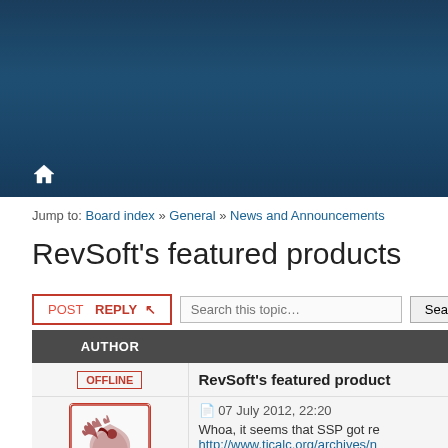[Figure (other): Dark blue header banner background]
Jump to: Board index » General » News and Announcements
RevSoft's featured products
POST REPLY  Search this topic…  Search
| AUTHOR |  |
| --- | --- |
| OFFLINE | RevSoft's featured products |
| [avatar image] | 07 July 2012, 22:20
Whoa, it seems that SSP got re
http://www.ticalc.org/archives/n |